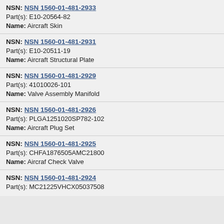NSN: NSN 1560-01-481-2933
Part(s): E10-20564-82
Name: Aircraft Skin
NSN: NSN 1560-01-481-2931
Part(s): E10-20511-19
Name: Aircraft Structural Plate
NSN: NSN 1560-01-481-2929
Part(s): 41010026-101
Name: Valve Assembly Manifold
NSN: NSN 1560-01-481-2926
Part(s): PLGA1251020SP782-102
Name: Aircraft Plug Set
NSN: NSN 1560-01-481-2925
Part(s): CHFA1876505AMC21800
Name: Aircraf Check Valve
NSN: NSN 1560-01-481-2924
Part(s): MC21225VHCX05037508